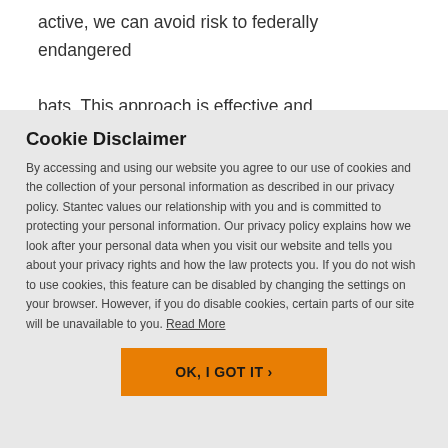active, we can avoid risk to federally endangered bats. This approach is effective and substantially
Cookie Disclaimer
By accessing and using our website you agree to our use of cookies and the collection of your personal information as described in our privacy policy. Stantec values our relationship with you and is committed to protecting your personal information. Our privacy policy explains how we look after your personal data when you visit our website and tells you about your privacy rights and how the law protects you. If you do not wish to use cookies, this feature can be disabled by changing the settings on your browser. However, if you do disable cookies, certain parts of our site will be unavailable to you. Read More
OK, I GOT IT ›